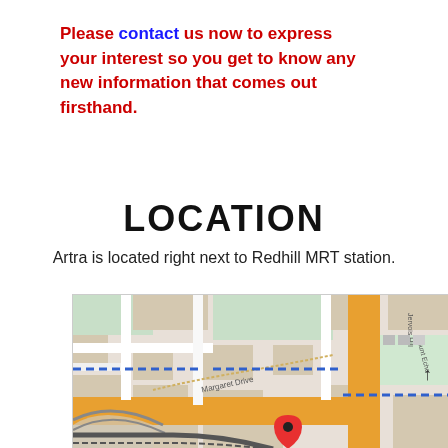Please contact us now to express your interest so you get to know any new information that comes out firsthand.
LOCATION
Artra is located right next to Redhill MRT station.
[Figure (map): Street map showing the area around Redhill MRT station, Singapore, with Margaret Drive visible, blue dashed line indicating MRT route, orange main road, and a red location pin marker near the center-bottom of the map.]